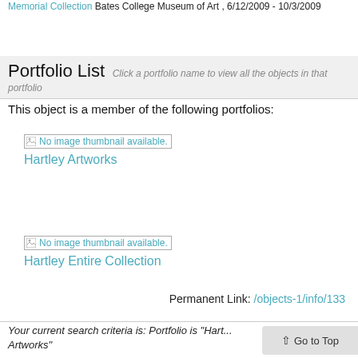Memorial Collection Bates College Museum of Art , 6/12/2009 - 10/3/2009
Portfolio List Click a portfolio name to view all the objects in that portfolio
This object is a member of the following portfolios:
[Figure (other): No image thumbnail available. placeholder image for Hartley Artworks portfolio]
Hartley Artworks
[Figure (other): No image thumbnail available. placeholder image for Hartley Entire Collection portfolio]
Hartley Entire Collection
Permanent Link: /objects-1/info/133
Your current search criteria is: Portfolio is "Hart... Artworks"
Go to Top